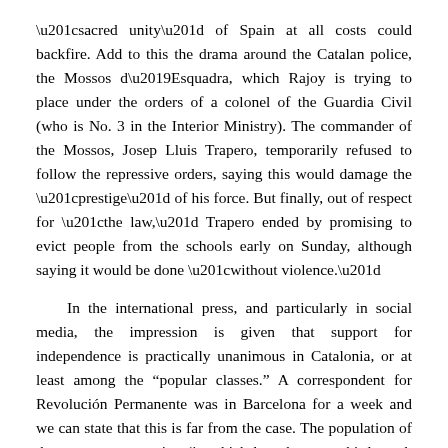“sacred unity” of Spain at all costs could backfire. Add to this the drama around the Catalan police, the Mossos d’Esquadra, which Rajoy is trying to place under the orders of a colonel of the Guardia Civil (who is No. 3 in the Interior Ministry). The commander of the Mossos, Josep Lluis Trapero, temporarily refused to follow the repressive orders, saying this would damage the “prestige” of his force. But finally, out of respect for “the law,” Trapero ended by promising to evict people from the schools early on Sunday, although saying it would be done “without violence.”
In the international press, and particularly in social media, the impression is given that support for independence is practically unanimous in Catalonia, or at least among the “popular classes.” A correspondent for Revolución Permanente was in Barcelona for a week and we can state that this is far from the case. The population of the autonomous region (in which less than one-third speak Catalan as their first language) is deeply divided. Even the detailed opinion surveys carried out by the Generalitat show that only a minority – around 40% – of those interviewed want to have